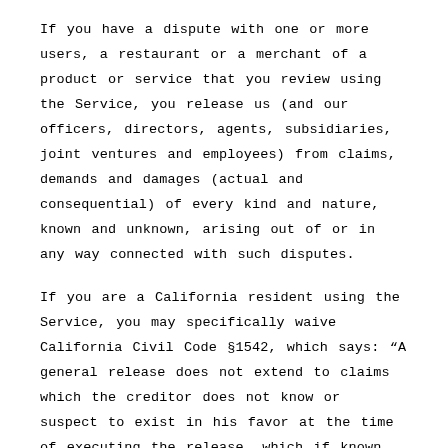If you have a dispute with one or more users, a restaurant or a merchant of a product or service that you review using the Service, you release us (and our officers, directors, agents, subsidiaries, joint ventures and employees) from claims, demands and damages (actual and consequential) of every kind and nature, known and unknown, arising out of or in any way connected with such disputes.
If you are a California resident using the Service, you may specifically waive California Civil Code §1542, which says: “A general release does not extend to claims which the creditor does not know or suspect to exist in his favor at the time of executing the release, which if known by him must have materially affected his settlement with